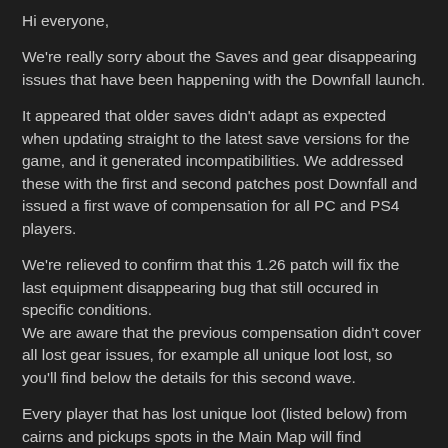Hi everyone,
We're really sorry about the Saves and gear disappearing issues that have been happening with the Downfall launch.
It appeared that older saves didn't adapt as expected when updating straight to the latest save versions for the game, and it generated incompatibilities. We addressed these with the first and second patches post Downfall and issued a first wave of compensation for all PC and PS4 players.
We're relieved to confirm that this 1.26 patch will fix the last equipment disappearing bug that still occured in specific conditions.
We are aware that the previous compensation didn't cover all lost gear issues, for example all unique loot lost, so you'll find below the details for this second wave.
Every player that has lost unique loot (listed below) from cairns and pickups spots in the Main Map will find